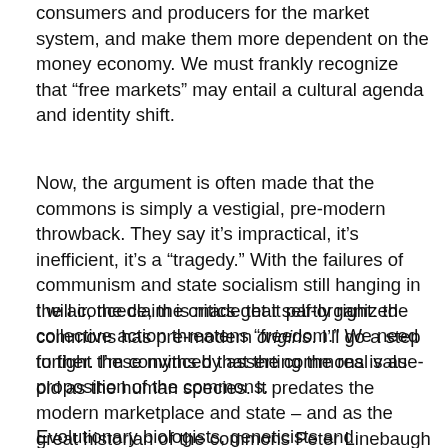consumers and producers for the market system, and make them more dependent on the money economy.  We must frankly recognize that “free markets” may entail a cultural agenda and identity shift.
Now, the argument is often made that the commons is simply a vestigial, pre-modern throwback.  They say it’s impractical, it’s inefficient, it’s a “tragedy.”  With the failures of communism and state socialism still hanging in the air, the claim is made that self-organized collective action threatens “freedom.”  We need to fight these myths by asserting the real value-proposition of the commons.
I will concede, the critics get it partly right:  the commons has pre-modern origins.  I’ll go a step further.  I’m convinced that the commons is as old as the human species.  It predates the modern marketplace and state – and as the great historian of the commons Peter Linebaugh has put it, the commons is “independent of the temporality of the law and state.”
Evolutionary biologists, geneticists and anthropologists